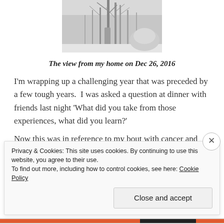[Figure (photo): Black and white winter landscape photo showing bare trees with snow, viewed from home]
The view from my home on Dec 26, 2016
I'm wrapping up a challenging year that was preceded by a few tough years.  I was asked a question at dinner with friends last night 'What did you take from those experiences, what did you learn?'
Now this was in reference to my bout with cancer and
Privacy & Cookies: This site uses cookies. By continuing to use this website, you agree to their use.
To find out more, including how to control cookies, see here: Cookie Policy
Close and accept